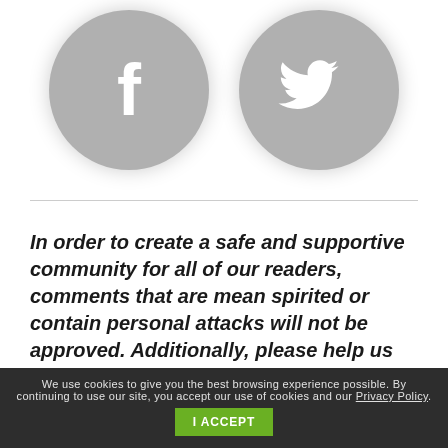[Figure (illustration): Two gray circular social media icons side by side: Facebook (letter f) on the left and Twitter (bird) on the right, both on white background with blurred/soft edges.]
In order to create a safe and supportive community for all of our readers, comments that are mean spirited or contain personal attacks will not be approved. Additionally, please help us maintain productive conversations by refraining from posting profanity, spam, advertisements, unrelated
We use cookies to give you the best browsing experience possible. By continuing to use our site, you accept our use of cookies and our Privacy Policy. I ACCEPT